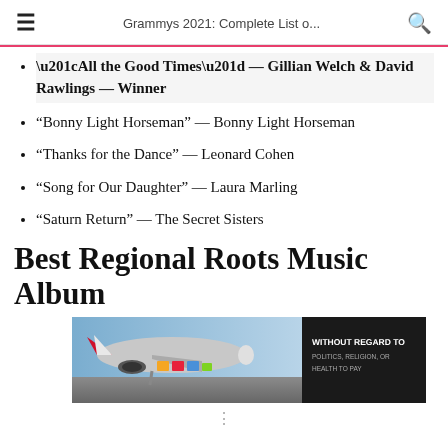Grammys 2021: Complete List o...
“All the Good Times” — Gillian Welch & David Rawlings — Winner
“Bonny Light Horseman” — Bonny Light Horseman
“Thanks for the Dance” — Leonard Cohen
“Song for Our Daughter” — Laura Marling
“Saturn Return” — The Secret Sisters
Best Regional Roots Music Album
[Figure (photo): Advertisement banner showing an airplane being loaded with cargo, with text 'WITHOUT REGARD TO POLITICS, RELIGION, OR HEALTH TO PAY']